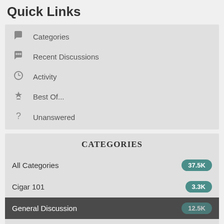Quick Links
Categories
Recent Discussions
Activity
Best Of...
Unanswered
CATEGORIES
All Categories 37.5K
Cigar 101 3.3K
General Discussion 12.5K
Non Cigar Related 7.3K